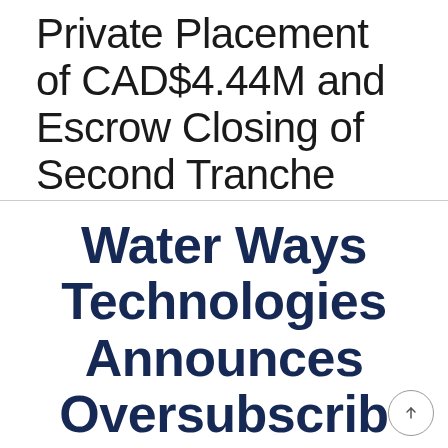Private Placement of CAD$4.44M and Escrow Closing of Second Tranche
Water Ways Technologies Announces Oversubscrib